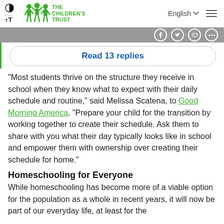THE CHILDREN'S TRUST | English | (menu)
[Figure (logo): The Children's Trust green logo with child figures]
Read 13 replies
"Most students thrive on the structure they receive in school when they know what to expect with their daily schedule and routine," said Melissa Scatena, to Good Morning America. "Prepare your child for the transition by working together to create their schedule. Ask them to share with you what their day typically looks like in school and empower them with ownership over creating their schedule for home."
Homeschooling for Everyone
While homeschooling has become more of a viable option for the population as a whole in recent years, it will now be part of our everyday life, at least for the